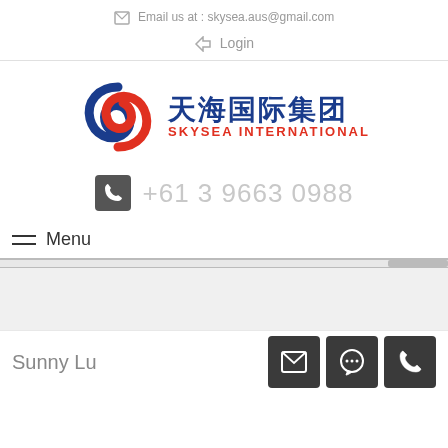Email us at : skysea.aus@gmail.com
Login
[Figure (logo): Skysea International logo with red and blue swirl emblem, Chinese text 天海国际集团 in blue, and SKYSEA INTERNATIONAL in red]
+61 3 9663 0988
Menu
Sunny Lu